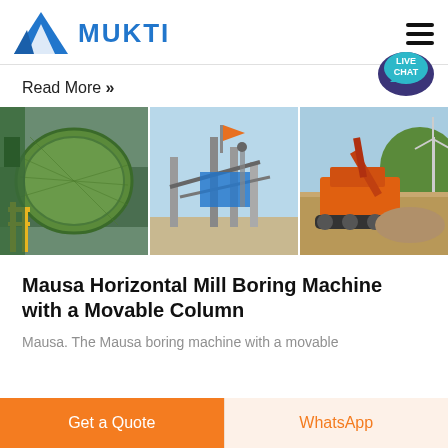[Figure (logo): Mukti company logo with blue triangle/mountain shape and MUKTI text in bold blue]
Read More »
[Figure (photo): Three side-by-side industrial machinery photos: a large green rotating mill/drum on left, a construction/processing plant in the middle with orange flag, and an orange excavator or crusher machine on the right in a quarry setting]
Mausa Horizontal Mill Boring Machine with a Movable Column
Mausa. The Mausa boring machine with a movable
Get a Quote
WhatsApp